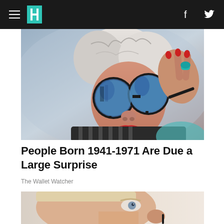HuffPost navigation bar with hamburger menu, logo, Facebook and Twitter icons
[Figure (photo): Elderly woman with short grey hair wearing large round blue-tinted sunglasses with black frames, holding them with her hand which has red nails and a turquoise ring, wearing a striped top, red lipstick, photographed against a grey background.]
People Born 1941-1971 Are Due a Large Surprise
The Wallet Watcher
[Figure (photo): Close-up side profile of a young man with short blonde hair and blue eyes, appears to be having something placed near his nose, against a light background.]